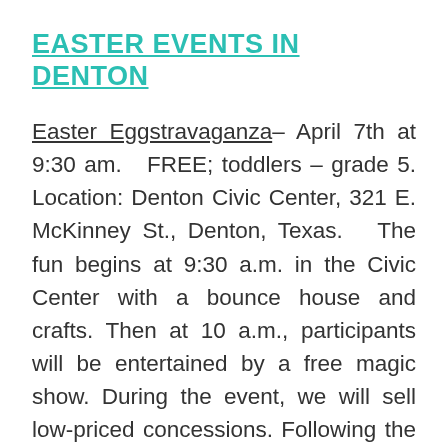EASTER EVENTS IN DENTON
Easter Eggstravaganza– April 7th at 9:30 am.   FREE; toddlers – grade 5. Location: Denton Civic Center, 321 E. McKinney St., Denton, Texas.   The fun begins at 9:30 a.m. in the Civic Center with a bounce house and crafts. Then at 10 a.m., participants will be entertained by a free magic show. During the event, we will sell low-priced concessions. Following the magic show, participants will be led from inside the Civic Center to